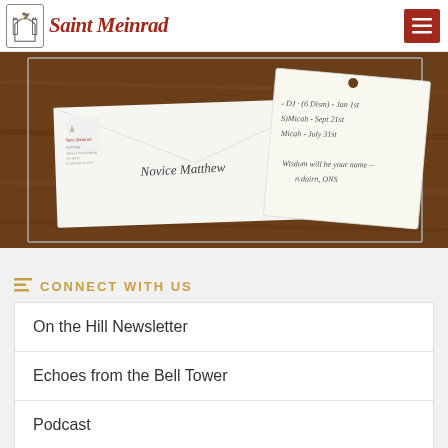Saint Meinrad
[Figure (photo): Photo of a Saint Meinrad envelope addressed to 'Novice Matthew' on a wooden table, with a handwritten tag card showing dates and a note 'Wisdom will be your name – n.dairn, ONS']
CONNECT WITH US
On the Hill Newsletter
Echoes from the Bell Tower
Podcast